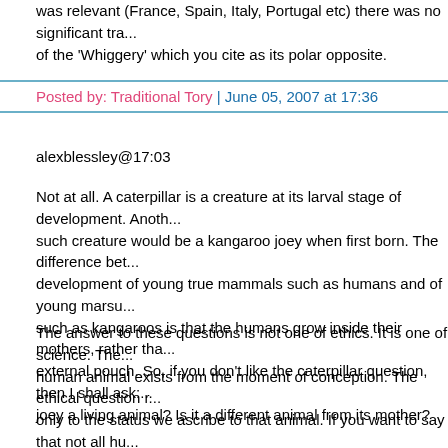was relevant (France, Spain, Italy, Portugal etc) there was no significant tra... of the 'Whiggery' which you cite as its polar opposite.
Posted by: Traditional Tory | June 05, 2007 at 17:36
alexblessley@17:03
Not at all. A caterpillar is a creature at its larval stage of development. Anoth... such creature would be a kangaroo joey when first born. The difference bet... development of young true mammals such as humans and of young marsu... such as kangaroos is that the humans grow inside their mothers, rather tha... external pouch. So, if you don't like the caterpillar question, then I shall ask:... joey a living animal? Is it a different animal from its mother?
The answer to these questions is not one of ethics. It is one of science. The... human animal exists from the moment of conception. The ethical question r... only to the status we ascribe to that animal. If you want to say that not all hu... animals are people (which I presume you do), then I ask: What extra factor... you wanting beyond humanity, for an animal to count as a person? I can thi... lots of things you might suggest - this isn't a rhetorical question that people... not supposed to be able to answer. Most societies have not believed that al... human animals are to count as people. For example, at various times and p... women, children, Jews, prisoners, the mentally handicapped, and many oth... categories have not counted as people. Our society does not count very tin...